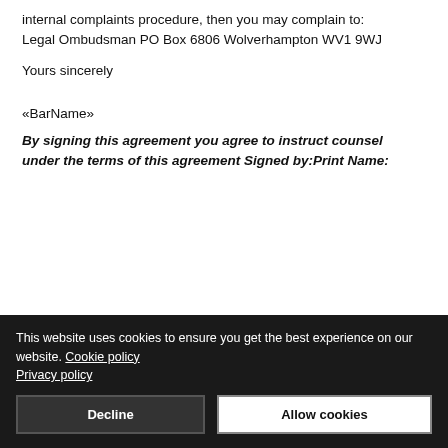internal complaints procedure, then you may complain to: Legal Ombudsman PO Box 6806 Wolverhampton WV1 9WJ
Yours sincerely
«BarName»
By signing this agreement you agree to instruct counsel under the terms of this agreement Signed by:Print Name:
This website uses cookies to ensure you get the best experience on our website. Cookie policy Privacy policy
Decline
Allow cookies